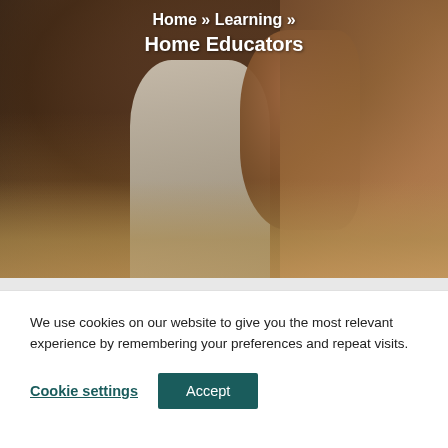[Figure (photo): Hero photo of a person (back view, dark skin, wearing a white sleeveless top) against a warm brown/orange blurred background. Breadcrumb navigation and page title overlaid on the image.]
Home » Learning » Home Educators
We use cookies on our website to give you the most relevant experience by remembering your preferences and repeat visits.
Cookie settings   Accept